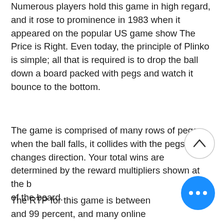Numerous players hold this game in high regard, and it rose to prominence in 1983 when it appeared on the popular US game show The Price is Right. Even today, the principle of Plinko is simple; all that is required is to drop the ball down a board packed with pegs and watch it bounce to the bottom.
The game is comprised of many rows of pegs; when the ball falls, it collides with the pegs and changes direction. Your total wins are determined by the reward multipliers shown at the bottom of the board.
The RTP for this game is between and 99 percent, and many online